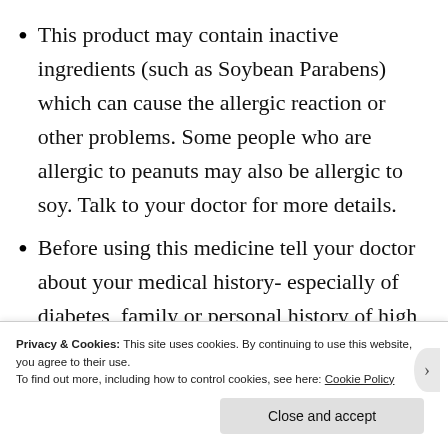This product may contain inactive ingredients (such as Soybean Parabens) which can cause the allergic reaction or other problems. Some people who are allergic to peanuts may also be allergic to soy. Talk to your doctor for more details.
Before using this medicine tell your doctor about your medical history- especially of diabetes, family or personal history of high
Privacy & Cookies: This site uses cookies. By continuing to use this website, you agree to their use.
To find out more, including how to control cookies, see here: Cookie Policy
Close and accept